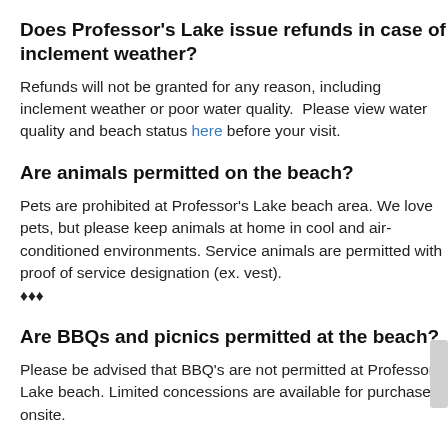Does Professor's Lake issue refunds in case of inclement weather?
Refunds will not be granted for any reason, including inclement weather or poor water quality.  Please view water quality and beach status here before your visit.
Are animals permitted on the beach?
Pets are prohibited at Professor's Lake beach area. We love pets, but please keep animals at home in cool and air-conditioned environments. Service animals are permitted with proof of service designation (ex. vest). ❓❓❓
Are BBQs and picnics permitted at the beach?
Please be advised that BBQ's are not permitted at Professor's Lake beach. Limited concessions are available for purchase onsite.